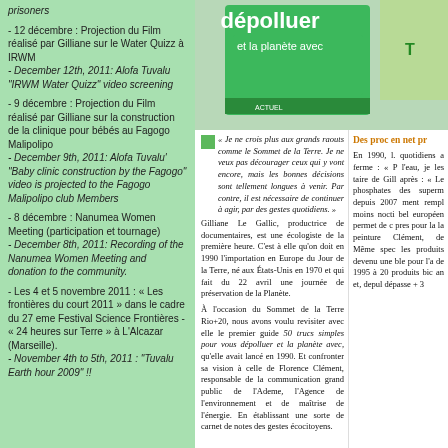prisoners
- 12 décembre : Projection du Film réalisé par Gilliane sur le Water Quizz à IRWM
- December 12th, 2011: Alofa Tuvalu "IRWM Water Quizz" video screening
- 9 décembre : Projection du Film réalisé par Gilliane sur la construction de la clinique pour bébés au Fagogo Malipolipo
- December 9th, 2011: Alofa Tuvalu' "Baby clinic construction by the Fagogo" video is projected to the Fagogo Malipolipo club Members
- 8 décembre : Nanumea Women Meeting (participation et tournage)
- December 8th, 2011: Recording of the Nanumea Women Meeting and donation to the community.
- Les 4 et 5 novembre 2011 : « Les frontières du court 2011 » dans le cadre du 27 eme Festival Science Frontières - « 24 heures sur Terre » à L'Alcazar (Marseille).
- November 4th to 5th, 2011 : "Tuvalu Earth hour 2009" !!
[Figure (photo): Magazine cover showing 'dépolluer et la planète avec' text on green background]
« Je ne crois plus aux grands raouts comme le Sommet de la Terre. Je ne veux pas décourager ceux qui y vont encore, mais les bonnes décisions sont tellement longues à venir. Par contre, il est nécessaire de continuer à agir, par des gestes quotidiens. » Gilliane Le Gallic, productrice de documentaires, est une écologiste de la première heure. C'est à elle qu'on doit en 1990 l'importation en Europe du Jour de la Terre, né aux États-Unis en 1970 et qui fait du 22 avril une journée de préservation de la Planète. À l'occasion du Sommet de la Terre Rio+20, nous avons voulu revisiter avec elle le premier guide 50 trucs simples pour vous dépolluer et la planète avec, qu'elle avait lancé en 1990. Et confronter sa vision à celle de Florence Clément, responsable de la communication grand public de l'Ademe, l'Agence de l'environnement et de maîtrise de l'énergie. En établissant une sorte de carnet de notes des gestes écocitoyens.
Des proc en net pr
En 1990, l. quotidiens a ferme : « P l'eau, je les taire de Gill après : « Le phosphates des superm depuis 2007 ment rempl moins nocti bel européen permet de c pres pour la la peinture Clément, de Même spec les produits devenu une ble pour l'a de 1995 à 20 produits bic an et, depul dépasse + 3